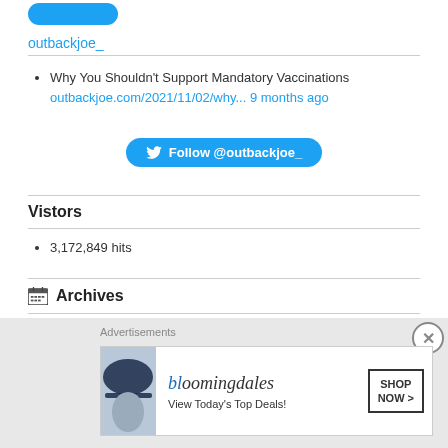[Figure (other): Blue rounded button at top]
outbackjoe_
Why You Shouldn't Support Mandatory Vaccinations outbackjoe.com/2021/11/02/why... 9 months ago
[Figure (other): Follow @outbackjoe_ Twitter button]
Vistors
3,172,849 hits
Archives
Select Month
[Figure (other): Bloomingdales advertisement: View Today's Top Deals! SHOP NOW >]